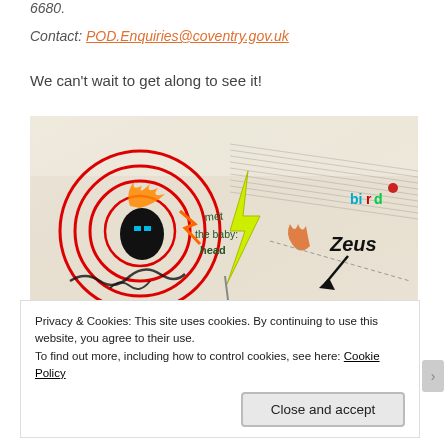6680.
Contact: POD.Enquiries@coventry.gov.uk
We can't wait to get along to see it!
[Figure (photo): A child's artwork on fabric/cloth showing a head with red concentric circles, lightning bolt, and text reading 'bird', 'Zeus', 'met', 'the baby', 'head']
Privacy & Cookies: This site uses cookies. By continuing to use this website, you agree to their use.
To find out more, including how to control cookies, see here: Cookie Policy
Close and accept